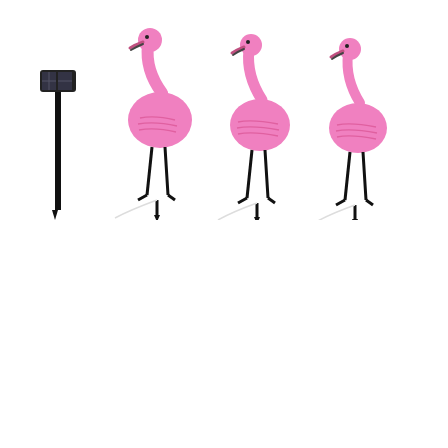[Figure (photo): Three pink flamingo solar garden lights glowing at night in a garden setting with white picket fence, rocks, and green plants in the background. The flamingos emit a pink/purple glow from solar-powered LEDs.]
[Figure (photo): Product photo on white background showing three pink plastic flamingo garden stake lights with black metal legs and wires, plus a separate solar panel stake unit on the left side.]